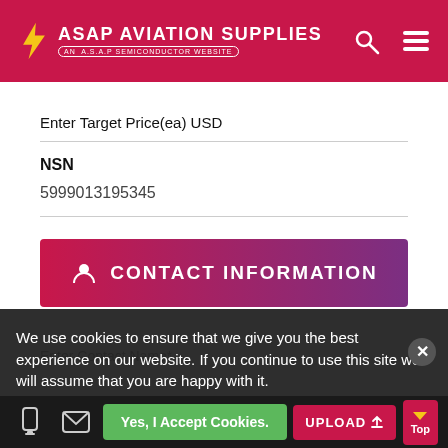ASAP AVIATION SUPPLIES — AN A.S.A.P SEMICONDUCTOR WEBSITE
Enter Target Price(ea) USD
NSN
5999013195345
CONTACT INFORMATION
Enter Contact Name*
We use cookies to ensure that we give you the best experience on our website. If you continue to use this site we will assume that you are happy with it.
Yes, I Accept Cookies.
UPLOAD
Top